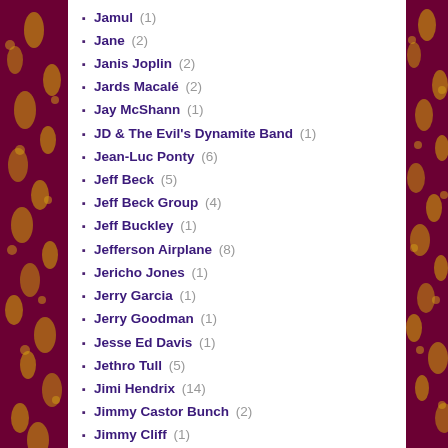Jamul (1)
Jane (2)
Janis Joplin (2)
Jards Macalé (2)
Jay McShann (1)
JD & The Evil's Dynamite Band (1)
Jean-Luc Ponty (6)
Jeff Beck (5)
Jeff Beck Group (4)
Jeff Buckley (1)
Jefferson Airplane (8)
Jericho Jones (1)
Jerry Garcia (1)
Jerry Goodman (1)
Jesse Ed Davis (1)
Jethro Tull (5)
Jimi Hendrix (14)
Jimmy Castor Bunch (2)
Jimmy Cliff (1)
Jimmy Page (1)
Jimmy Reed (2)